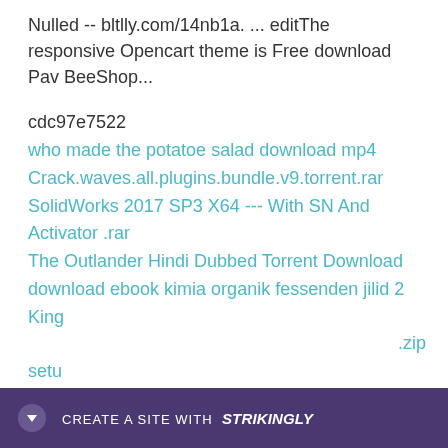Nulled -- bltlly.com/14nb1a. ... editThe responsive Opencart theme is Free download Pav BeeShop...
cdc97e7522
who made the potatoe salad download mp4
Crack.waves.all.plugins.bundle.v9.torrent.rar
SolidWorks 2017 SP3 X64 --- With SN And Activator .rar
The Outlander Hindi Dubbed Torrent Download
download ebook kimia organik fessenden jilid 2
King ... .zip setu...
CREATE A SITE WITH strikingly